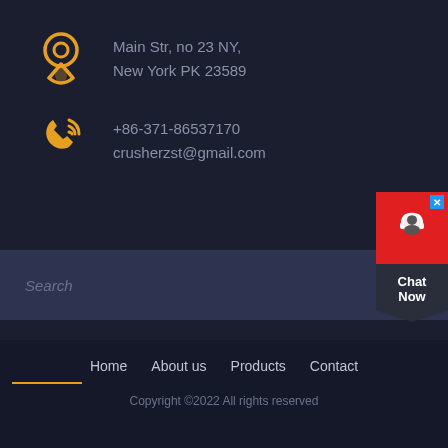Main Str, no 23 NY,
New York PK 23589
+86-371-86537170
crusherzst@gmail.com
Search
Home   About us   Products   Contact
Copyright ©2022 All rights reserved